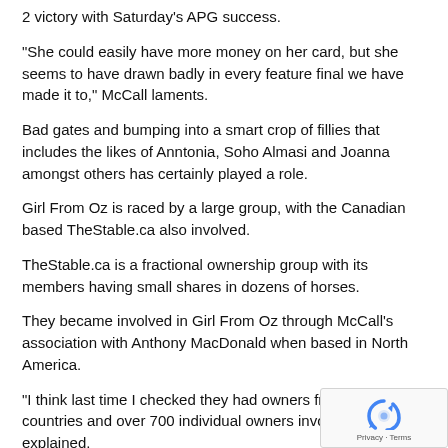2 victory with Saturday's APG success.
“She could easily have more money on her card, but she seems to have drawn badly in every feature final we have made it to,” McCall laments.
Bad gates and bumping into a smart crop of fillies that includes the likes of Anntonia, Soho Almasi and Joanna amongst others has certainly played a role.
Girl From Oz is raced by a large group, with the Canadian based TheStable.ca also involved.
TheStable.ca is a fractional ownership group with its members having small shares in dozens of horses.
They became involved in Girl From Oz through McCall’s association with Anthony MacDonald when based in North America.
“I think last time I checked they had owners from 12 different countries and over 700 individual owners involved,” McCall explained.
“I’ve known Tony for a long time and I had been in con with him just before he came out to Sydney in 2019.